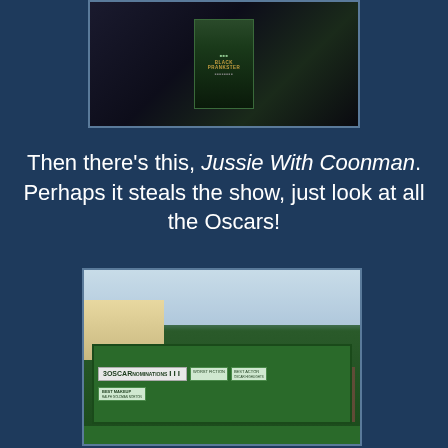[Figure (photo): Photo of a bus shelter at night with a movie poster inside showing 'Black Prankster' style poster with a person, dark outdoor setting]
Then there's this, Jussie With Coonman. Perhaps it steals the show, just look at all the Oscars!
[Figure (photo): Photo of a green bus bench/billboard showing Oscar nominations: 3 Oscar nominations, Best Makeup Ralph Goldman Norton, Worst Fiction, Best Actor, with two people visible in the advertisement]